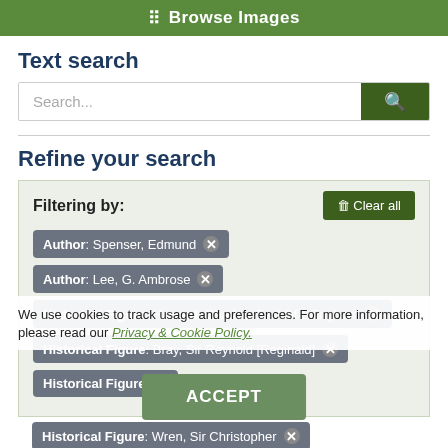Browse Images
Text search
Search... [search input box]
Refine your search
Filtering by:
Author: Spenser, Edmund ×
Author: Lee, G. Ambrose ×
Historical Figure: Howard, Charles, Earl Of Effingham ×
Historical Figure: Bray, Sir Reynold [Reginald] ×
Historical Figure: Fo... ×
Historical Figure: Wren, Sir Christopher ×
We use cookies to track usage and preferences. For more information, please read our Privacy & Cookie Policy.
ACCEPT